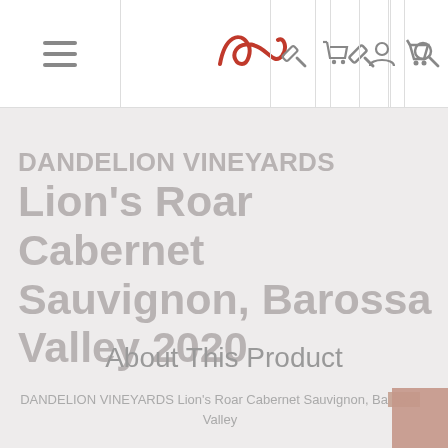Navigation bar with hamburger menu, logo, auction icon, cart icon, user icon, search icon
DANDELION VINEYARDS Lion's Roar Cabernet Sauvignon, Barossa Valley 2020
About This Product
DANDELION VINEYARDS Lion's Roar Cabernet Sauvignon, Barossa Valley